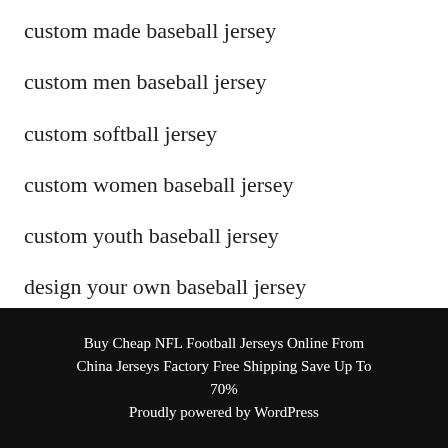custom made baseball jersey
custom men baseball jersey
custom softball jersey
custom women baseball jersey
custom youth baseball jersey
design your own baseball jersey
Buy Cheap NFL Football Jerseys Online From China Jerseys Factory Free Shipping Save Up To 70%
Proudly powered by WordPress